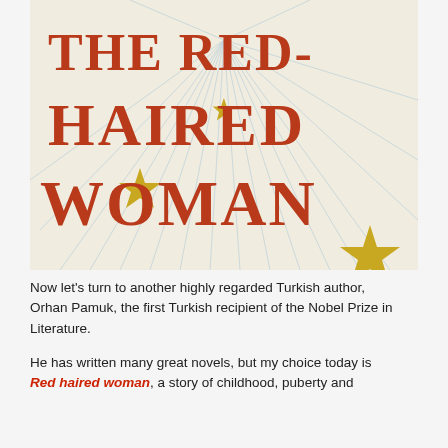[Figure (illustration): Book cover of 'The Red-Haired Woman' by Orhan Pamuk. Cream/off-white background with radiating light blue lines (sunburst pattern). Large bold rust/brick-red serif text reads 'THE RED-HAIRED WOMAN' in three lines. Three gold/yellow stars scattered on the cover.]
Now let's turn to another highly regarded Turkish author, Orhan Pamuk, the first Turkish recipient of the Nobel Prize in Literature.
He has written many great novels, but my choice today is Red haired woman, a story of childhood, puberty and coming...